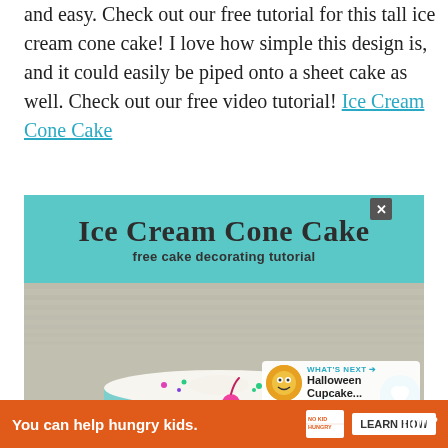and easy. Check out our free tutorial for this tall ice cream cone cake! I love how simple this design is, and it could easily be piped onto a sheet cake as well. Check out our free video tutorial! Ice Cream Cone Cake
[Figure (photo): Ice Cream Cone Cake promotional image with teal header showing title 'Ice Cream Cone Cake' and subtitle 'free cake decorating tutorial', below which is a photo of an ice cream cone cake with teal stripes, sprinkles, whipped cream, and a pink cherry on top. Overlaid UI elements include a heart/save button, 4.5K count, share button, and 'What's Next: Halloween Cupcake...' thumbnail.]
You can help hungry kids. | NO KID HUNGRY | LEARN HOW